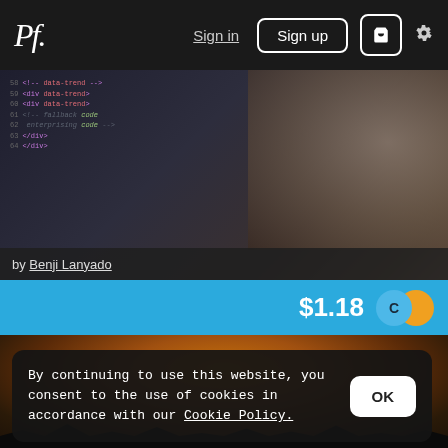Pf. | Sign in | Sign up | cart | settings
[Figure (screenshot): Code editor screenshot showing HTML/code lines with line numbers 58-64, pink/purple syntax highlighting, and a blurred keyboard in the background]
by Benji Lanyado
$1.18
[Figure (photo): Sunset landscape photo with orange-brown sky glow and dark tree silhouettes at the bottom]
By continuing to use this website, you consent to the use of cookies in accordance with our Cookie Policy.
OK